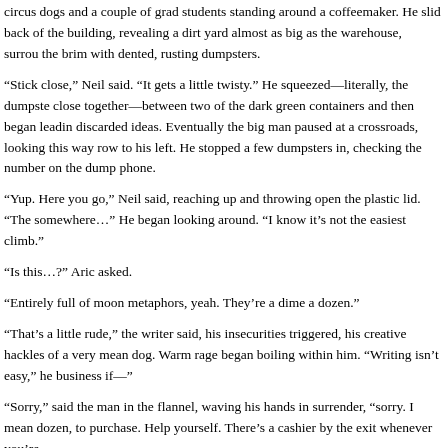circus dogs and a couple of grad students standing around a coffeemaker. He slid back of the building, revealing a dirt yard almost as big as the warehouse, surrou the brim with dented, rusting dumpsters.
“Stick close,” Neil said. “It gets a little twisty.” He squeezed—literally, the dumpste close together—between two of the dark green containers and then began leadin discarded ideas. Eventually the big man paused at a crossroads, looking this way row to his left. He stopped a few dumpsters in, checking the number on the dump phone.
“Yup. Here you go,” Neil said, reaching up and throwing open the plastic lid. “The somewhere…” He began looking around. “I know it’s not the easiest climb.”
“Is this…?” Aric asked.
“Entirely full of moon metaphors, yeah. They’re a dime a dozen.”
“That’s a little rude,” the writer said, his insecurities triggered, his creative hackles of a very mean dog. Warm rage began boiling within him. “Writing isn’t easy,” he business if—”
“Sorry,” said the man in the flannel, waving his hands in surrender, “sorry. I mean dozen, to purchase. Help yourself. There’s a cashier by the exit whenever you’re
“Oh,” Aric said, his escaping wrath leaving him suddenly exhausted, “right. Okay. He shook his head. “That’s actually a really good price, too. I thought—”